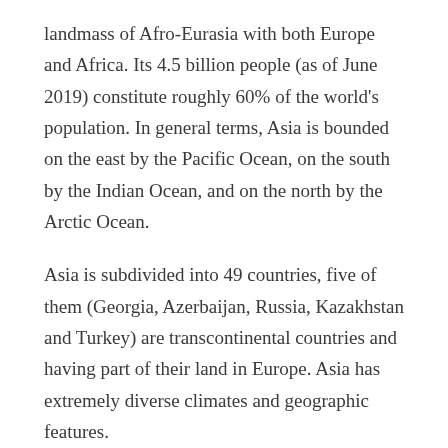landmass of Afro-Eurasia with both Europe and Africa. Its 4.5 billion people (as of June 2019) constitute roughly 60% of the world's population. In general terms, Asia is bounded on the east by the Pacific Ocean, on the south by the Indian Ocean, and on the north by the Arctic Ocean.
Asia is subdivided into 49 countries, five of them (Georgia, Azerbaijan, Russia, Kazakhstan and Turkey) are transcontinental countries and having part of their land in Europe. Asia has extremely diverse climates and geographic features.
Economic growth has been exceptionally rapid in Asia, with several countries achieving GDP growth rates of over 6% annually over the last 20 years. Growth is largely export-led, with high rates of foreign and